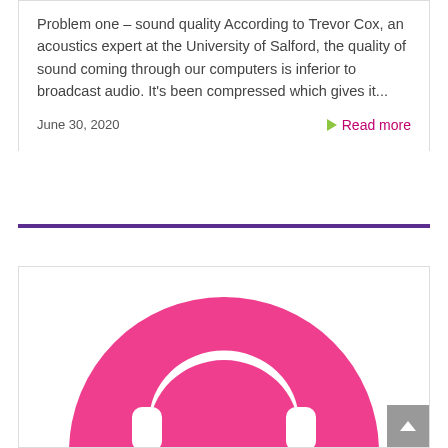Problem one – sound quality According to Trevor Cox, an acoustics expert at the University of Salford, the quality of sound coming through our computers is inferior to broadcast audio. It's been compressed which gives it...
June 30, 2020
Read more
[Figure (illustration): Pink circle with a white headphone icon in the center, partially cropped at the bottom of the card]